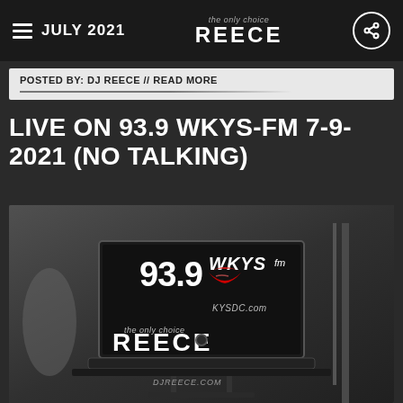JULY 2021 — DJ REECE (the only choice)
POSTED BY: DJ REECE // READ MORE
LIVE ON 93.9 WKYS-FM 7-9-2021 (NO TALKING)
[Figure (photo): Black and white photo of a DJ setup / laptop with 93.9 WKYS-fm logo and DJ Reece logo on screen, set in a radio studio environment. The laptop shows the DJ Reece branding and KYSDC.com. A red lips graphic appears in the WKYS logo.]